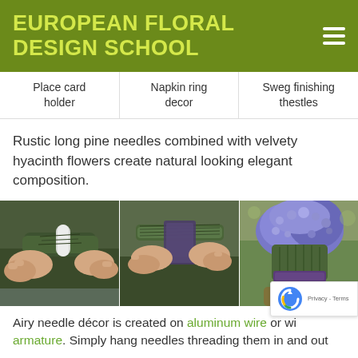EUROPEAN FLORAL DESIGN SCHOOL
Place card holder
Napkin ring decor
Sweg finishing thestles
Rustic long pine needles combined with velvety hyacinth flowers create natural looking elegant composition.
[Figure (photo): Three-panel photo showing steps of creating a pine needle and hyacinth floral arrangement: left panel shows hands wrapping pine needles with a tube, middle panel shows hands tying with a dark ribbon, right panel shows finished arrangement with blue hyacinth flowers.]
Airy needle décor is created on aluminum wire or wi armature. Simply hang needles threading them in and out